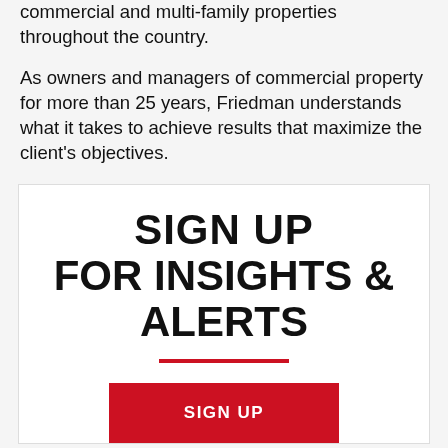commercial and multi-family properties throughout the country.
As owners and managers of commercial property for more than 25 years, Friedman understands what it takes to achieve results that maximize the client’s objectives.
SIGN UP FOR INSIGHTS & ALERTS
SIGN UP